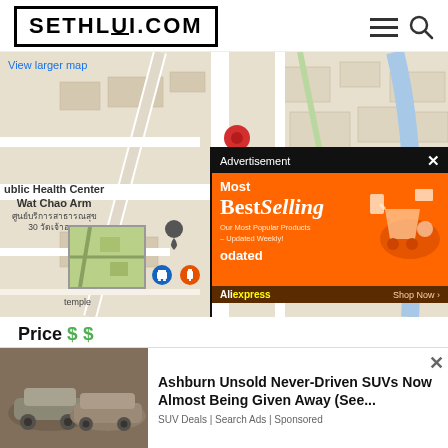SETHLUI.COM
[Figure (map): Google Maps showing a location pin in Bangkok area near Public Health Center Wat Chao Arm with Thai text labels, road network visible, map thumbnail in bottom left, Google logo and keyboard shortcuts visible. An advertisement overlay for AliExpress Best Selling products (orange background) appears in the bottom right of the map section.]
View larger map
Price $$
CHRIS STEAKS AND BURGERS
[Figure (photo): Photo of dusty/abandoned cars in a parking lot, used in advertisement.]
Ashburn Unsold Never-Driven SUVs Now Almost Being Given Away (See...
SUV Deals | Search Ads | Sponsored